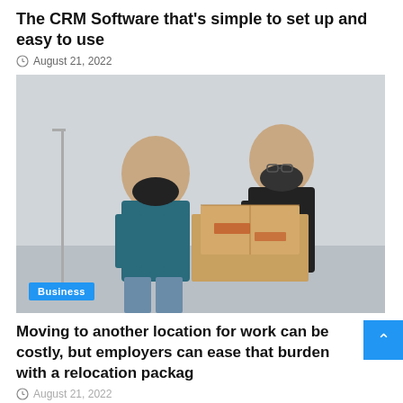The CRM Software that's simple to set up and easy to use
August 21, 2022
[Figure (photo): Two men wearing black face masks handling cardboard moving boxes in a warehouse or indoor setting. One man is in a dark teal shirt, the other in a black shirt. A 'Business' badge overlays the bottom-left of the image.]
Moving to another location for work can be costly, but employers can ease that burden with a relocation packag
August 21, 2022